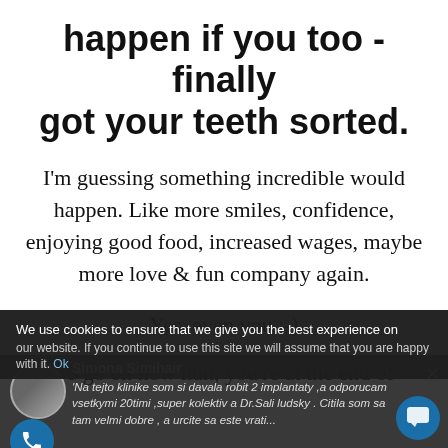happen if you too - finally got your teeth sorted.
I'm guessing something incredible would happen. Like more smiles, confidence, enjoying good food, increased wages, maybe more love & fun company again.
Yes, even you :-)
So go on now hun, you're at the end of
We use cookies to ensure that we give you the best experience on our website. If you continue to use this site we will assume that you are happy with it.
Simona Simihair
'Na tejto klinike som si davala robit 2 implantaty ,a odporucam vsetkymi 20timi ,super kolektiv a Dr.Sali ludsky . Citila som sa tam velmi dobre , a urcite sa este vrati...